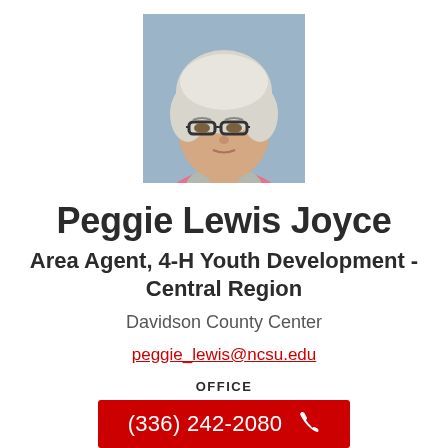[Figure (photo): Headshot photo of Peggie Lewis Joyce, a woman with short light gray hair wearing glasses and a pink top]
Peggie Lewis Joyce
Area Agent, 4-H Youth Development - Central Region
Davidson County Center
peggie_lewis@ncsu.edu
OFFICE
(336) 242-2080